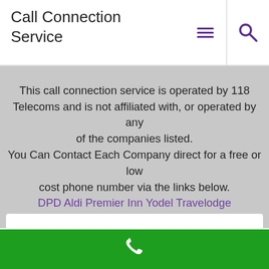Call Connection Service
This call connection service is operated by 118 Telecoms and is not affiliated with, or operated by any of the companies listed.
You Can Contact Each Company direct for a free or low cost phone number via the links below.
DPD Aldi Premier Inn Yodel Travelodge
TK Maxx Derby Contact